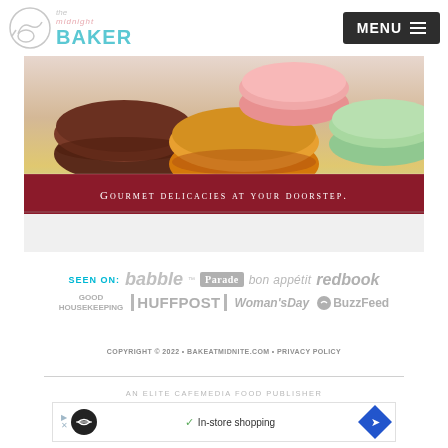The Midnight Baker — MENU
[Figure (photo): Advertisement banner showing colorful French macarons (chocolate, pink, orange, green) with text 'Gourmet delicacies at your doorstep.']
SEEN ON: babble Parade bon appétit redbook GOOD HOUSEKEEPING HUFFPOST Woman's Day BuzzFeed
COPYRIGHT © 2022 • BAKEATMIDNITE.COM • PRIVACY POLICY
AN ELITE CAFEMEDIA FOOD PUBLISHER
[Figure (other): Bottom advertisement banner with circular logo, In-store shopping text, and navigation arrow icon]